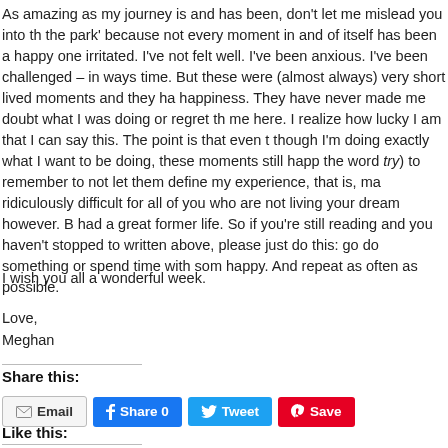As amazing as my journey is and has been, don't let me mislead you into th the park' because not every moment in and of itself has been a happy one irritated. I've not felt well. I've been anxious. I've been challenged – in ways time. But these were (almost always) very short lived moments and they ha happiness. They have never made me doubt what I was doing or regret th me here. I realize how lucky I am that I can say this. The point is that even though I'm doing exactly what I want to be doing, these moments still happ the word try) to remember to not let them define my experience, that is, ma ridiculously difficult for all of you who are not living your dream however. B had a great former life. So if you're still reading and you haven't stopped to written above, please just do this: go do something or spend time with som happy. And repeat as often as possible.
I wish you all a wonderful week.
Love,
Meghan
Share this:
Email  Share 0  Tweet  Save
Like this: